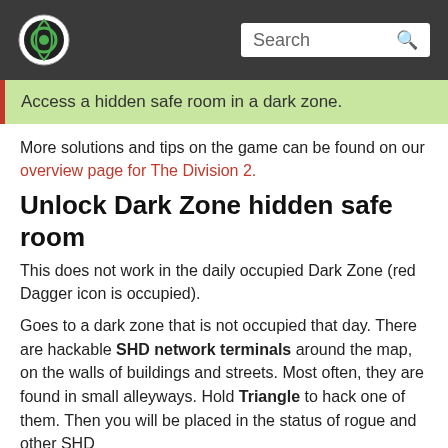Search
Access a hidden safe room in a dark zone.
More solutions and tips on the game can be found on our overview page for The Division 2.
Unlock Dark Zone hidden safe room
This does not work in the daily occupied Dark Zone (red Dagger icon is occupied).
Goes to a dark zone that is not occupied that day. There are hackable SHD network terminals around the map, on the walls of buildings and streets. Most often, they are found in small alleyways. Hold Triangle to hack one of them. Then you will be placed in the status of rogue and other SHD